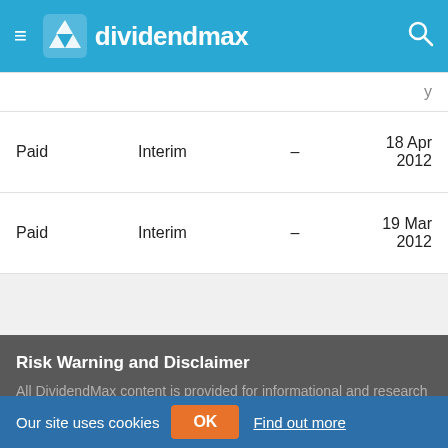dividendmax
| Status | Type |  | Date |
| --- | --- | --- | --- |
|  |  |  | y |
| Paid | Interim | – | 18 Apr 2012 |
| Paid | Interim | – | 19 Mar 2012 |
Risk Warning and Disclaimer
All DividendMax content is provided for informational and research purposes only and is not in any way meant to
Our site uses cookies  OK  Find out more